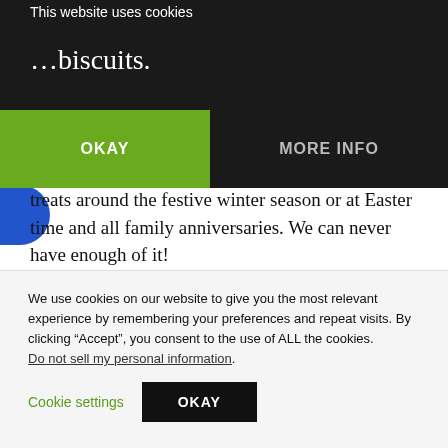not smother them in sticky syrup, so we could eat them like orange biscuits.
This website uses cookies
OKAY
MORE INFO
treats around the festive winter season or at Easter time and all family anniversaries. We can never have enough of it!
Ingredients for the dough
400 g flour (I always use white organic)
100 ml melted organic butter
We use cookies on our website to give you the most relevant experience by remembering your preferences and repeat visits. By clicking “Accept”, you consent to the use of ALL the cookies.
Do not sell my personal information.
Cookie settings
OKAY